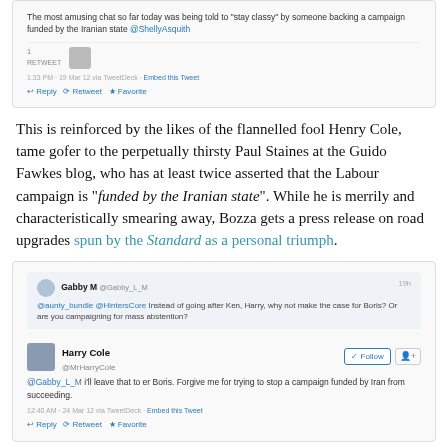[Figure (screenshot): Screenshot of a tweet stating 'The most amusing chat so far today was being told to "stay classy" by someone backing a campaign funded by the Iranian state @ShellyAsquith', with 1 retweet shown, timestamp 1:33 PM, reply/retweet/favorite actions]
This is reinforced by the likes of the flannelled fool Henry Cole, tame gofer to the perpetually thirsty Paul Staines at the Guido Fawkes blog, who has at least twice asserted that the Labour campaign is "funded by the Iranian state". While he is merrily and characteristically smearing away, Bozza gets a press release on road upgrades spun by the Standard as a personal triumph.
[Figure (screenshot): Screenshot of two tweets: first from Gabby M (@Gabby_L_M) asking '@aunty_bundle @HintersCore Instead of going after Ken, Harry, why not make the case for Boris? Or are you campaigning for mass abstention?'; second from Harry Cole (@MrHarryCole) with Follow button replying '@Gabby_L_M i'll leave that to er Boris. Forgive me for trying to stop a campaign funded by Iran from succeeding.' timestamped 12:40 AM 24 Mar 12]
And when Bozza makes his own pitch for devolution, this